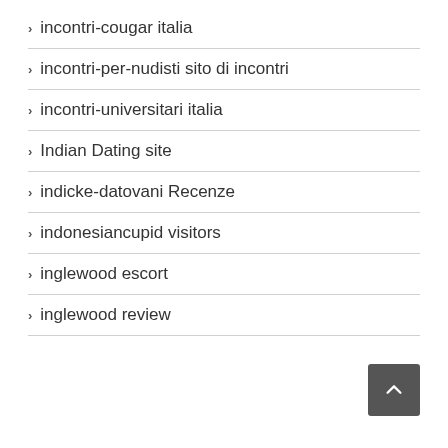incontri-cougar italia
incontri-per-nudisti sito di incontri
incontri-universitari italia
Indian Dating site
indicke-datovani Recenze
indonesiancupid visitors
inglewood escort
inglewood review